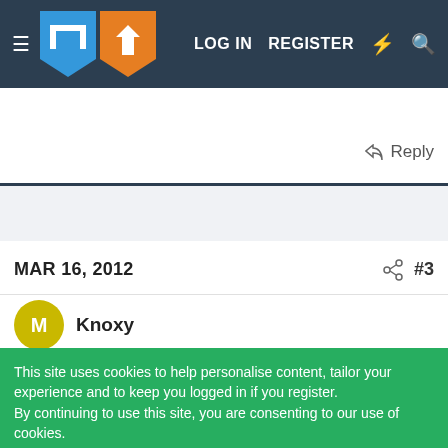LOG IN  REGISTER
Reply
MAR 16, 2012  #3
Knoxy
This site uses cookies to help personalise content, tailor your experience and to keep you logged in if you register.
By continuing to use this site, you are consenting to our use of cookies.
✓ Accept  Learn more...
Don't enjoy ads on the forum? Remove them ALL with a premium membership!